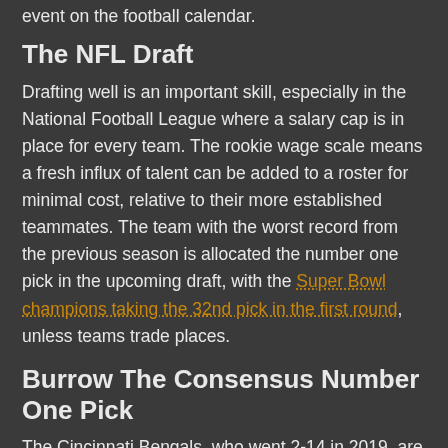event on the football calendar.
The NFL Draft
Drafting well is an important skill, especially in the National Football League where a salary cap is in place for every team. The rookie wage scale means a fresh influx of talent can be added to a roster for minimal cost, relative to their more established teammates. The team with the worst record from the previous season is allocated the number one pick in the upcoming draft, with the Super Bowl champions taking the 32nd pick in the first round, unless teams trade places.
Burrow The Consensus Number One Pick
The Cincinnati Bengals, who went 2-14 in 2019, are widely expected to draft Joe Burrow first overall. The